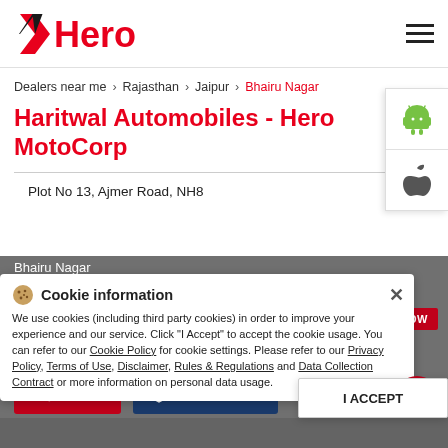[Figure (logo): Hero MotoCorp logo in red with black and red angular icon]
Dealers near me > Rajasthan > Jaipur > Bhairu Nagar
Haritwal Automobiles - Hero MotoCorp
Plot No 13, Ajmer Road, NH8
Bhairu Nagar
Jaipur - 302026
Cookie information
We use cookies (including third party cookies) in order to improve your experience and our service. Click "I Accept" to accept the cookie usage. You can refer to our Cookie Policy for cookie settings. Please refer to our Privacy Policy, Terms of Use, Disclaimer, Rules & Regulations and Data Collection Contract or more information on personal data usage.